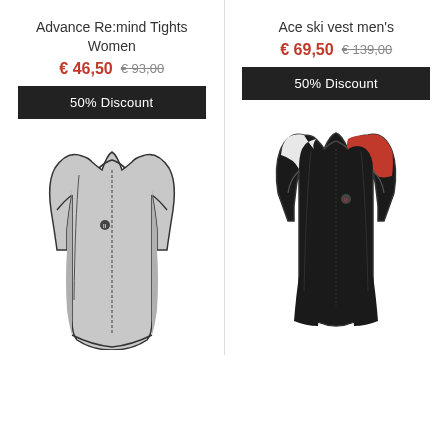Advance Re:mind Tights Women
€ 46,50  € 93,00
50% Discount
[Figure (photo): Sleeveless grey cycling vest/wind jacket with black trim, front zip, and small logo on chest]
Ace ski vest men's
€ 69,50  € 139,00
50% Discount
[Figure (photo): Black triathlon/cycling bib suit with orange shoulder panel and small logo on chest]